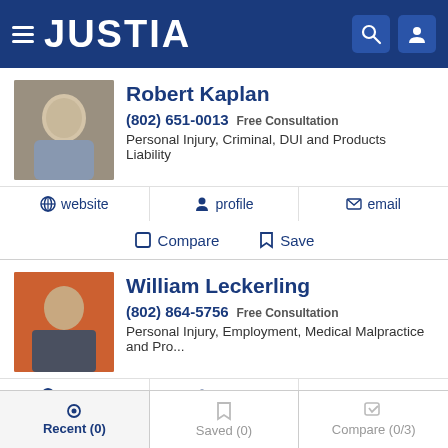JUSTIA
Robert Kaplan
(802) 651-0013 Free Consultation
Personal Injury, Criminal, DUI and Products Liability
website  profile  email
Compare  Save
William Leckerling
(802) 864-5756 Free Consultation
Personal Injury, Employment, Medical Malpractice and Pro...
website  profile  email
Recent (0)  Saved (0)  Compare (0/3)